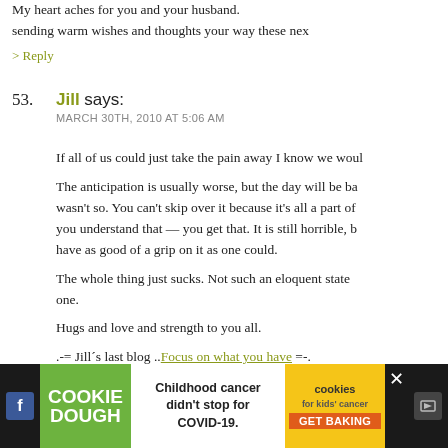My heart aches for you and your husband. sending warm wishes and thoughts your way these nex
> Reply
53. Jill says: MARCH 30TH, 2010 AT 5:06 AM
If all of us could just take the pain away I know we woul
The anticipation is usually worse, but the day will be ba wasn't so. You can't skip over it because it's all a part of you understand that — you get that. It is still horrible, b have as good of a grip on it as one could.
The whole thing just sucks. Not such an eloquent statem one.
Hugs and love and strength to you all.
.-= Jill's last blog ..Focus on what you have =-.
> Reply
54. Con says:
[Figure (infographic): Advertisement banner: Cookie Dough / Cookies for Kids Cancer. 'Childhood cancer didn't stop for COVID-19. GET BAKING']